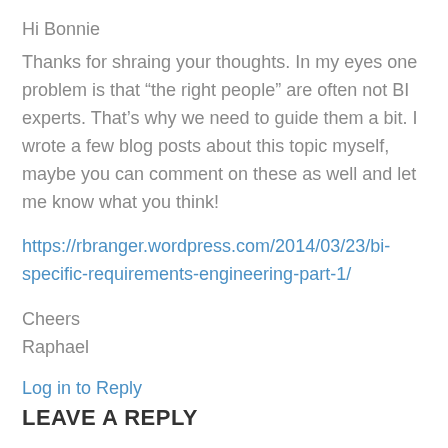Hi Bonnie
Thanks for shraing your thoughts. In my eyes one problem is that “the right people” are often not BI experts. That’s why we need to guide them a bit. I wrote a few blog posts about this topic myself, maybe you can comment on these as well and let me know what you think!
https://rbranger.wordpress.com/2014/03/23/bi-specific-requirements-engineering-part-1/
Cheers
Raphael
Log in to Reply
LEAVE A REPLY